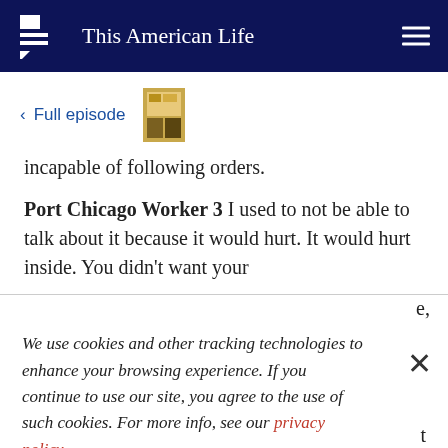This American Life
< Full episode
incapable of following orders.
Port Chicago Worker 3 I used to not be able to talk about it because it would hurt. It would hurt inside. You didn't want your
We use cookies and other tracking technologies to enhance your browsing experience. If you continue to use our site, you agree to the use of such cookies. For more info, see our privacy policy.